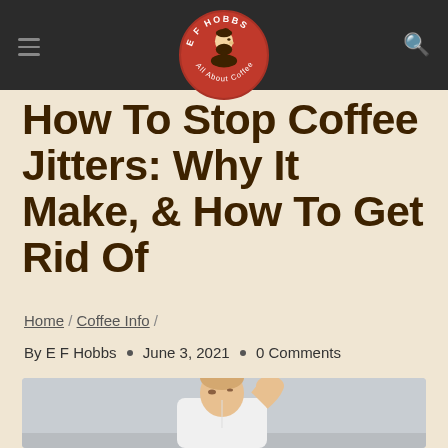E F Hobbs – All About Coffee (navigation bar with logo)
How To Stop Coffee Jitters: Why It Make, & How To Get Rid Of
Home / Coffee Info /
By E F Hobbs • June 3, 2021 • 0 Comments
[Figure (photo): Man in white t-shirt holding his head with one hand, looking stressed, against a light grey background]